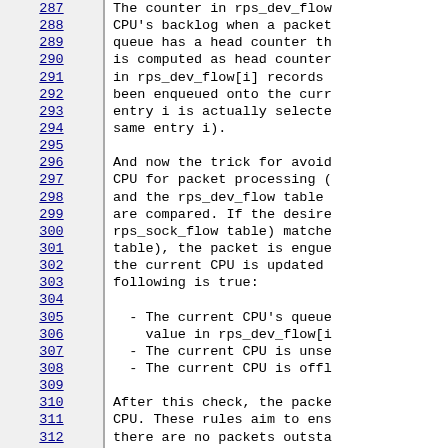287 The counter in rps_dev_flow... 288 CPU's backlog when a packet... 289 queue has a head counter th... 290 is computed as head counter... 291 in rps_dev_flow[i] records ... 292 been enqueued onto the curr... 293 entry i is actually selecte... 294 same entry i). 295  296 And now the trick for avoid... 297 CPU for packet processing (... 298 and the rps_dev_flow table ... 299 are compared. If the desire... 300 rps_sock_flow table) matche... 301 table), the packet is engue... 302 the current CPU is updated ... 303 following is true: 304  305   - The current CPU's queue... 306     value in rps_dev_flow[i... 307   - The current CPU is unse... 308   - The current CPU is offl... 309  310 After this check, the packe... 311 CPU. These rules aim to ens... 312 there are no packets outsta... 313 packets could arrive later ... 314 CPU.